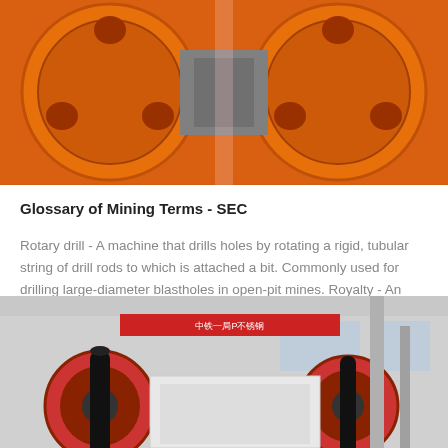[Figure (photo): Close-up photo of orange industrial mining machinery with circular wheel components against a dark background]
Glossary of Mining Terms - SEC
Rotary drill - A machine that drills holes by rotating a rigid, tubular string of drill rods to which is attached a bit. Commonly used for drilling large-diameter blastholes in open-pit mines. Royalty - An amount of money paid at regular intervals by the lessee or operator of an exploratio...
GET PRICE
[Figure (photo): Photo of industrial jaw crusher machinery with large red and black flywheels in a factory/warehouse setting with Chinese text banner visible]